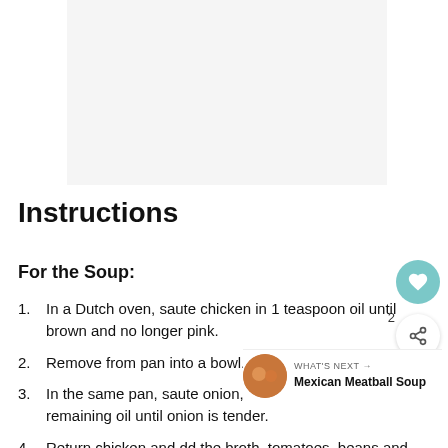[Figure (photo): Recipe food photo placeholder area, light gray background]
Instructions
For the Soup:
In a Dutch oven, saute chicken in 1 teaspoon oil until brown and no longer pink.
Remove from pan into a bowl.
In the same pan, saute onion, chili powder, jalapeno in remaining oil until onion is tender.
Return chicken and dd the broth, tomatoes, beans and